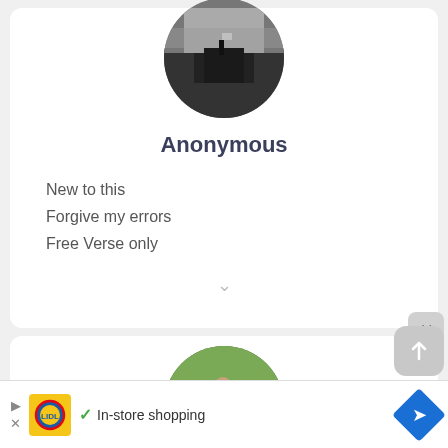[Figure (photo): Circular profile photo of Anonymous user - black and white landscape scene with dark silhouette]
Anonymous
New to this
Forgive my errors
Free Verse only
[Figure (photo): Circular profile photo of second user - person on horseback in green field]
[Figure (screenshot): Advertisement bar with Lidl logo, checkmark, 'In-store shopping' text, and blue navigation diamond icon]